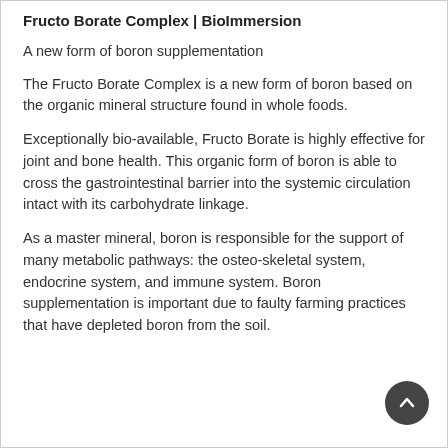Fructo Borate Complex | BioImmersion
A new form of boron supplementation
The Fructo Borate Complex is a new form of boron based on the organic mineral structure found in whole foods.
Exceptionally bio-available, Fructo Borate is highly effective for joint and bone health. This organic form of boron is able to cross the gastrointestinal barrier into the systemic circulation intact with its carbohydrate linkage.
As a master mineral, boron is responsible for the support of many metabolic pathways: the osteo-skeletal system, endocrine system, and immune system. Boron supplementation is important due to faulty farming practices that have depleted boron from the soil.